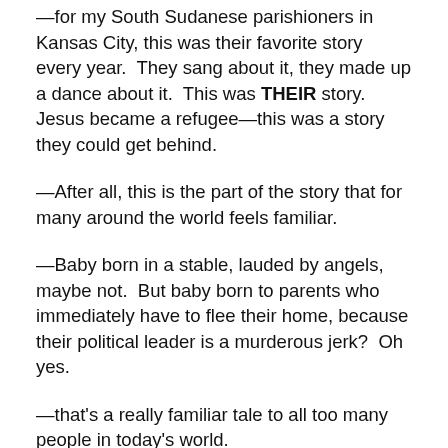—for my South Sudanese parishioners in Kansas City, this was their favorite story every year.  They sang about it, they made up a dance about it.  This was THEIR story.  Jesus became a refugee—this was a story they could get behind.
—After all, this is the part of the story that for many around the world feels familiar.
—Baby born in a stable, lauded by angels, maybe not.  But baby born to parents who immediately have to flee their home, because their political leader is a murderous jerk?  Oh yes.
—that's a really familiar tale to all too many people in today's world.
—And while we don't have independent evidence for